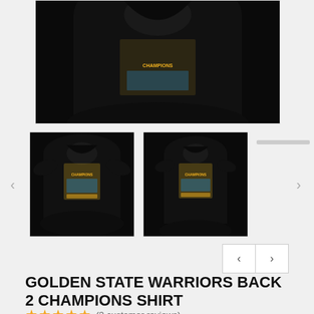[Figure (photo): Main product image showing top portion of a black t-shirt with graphic on black background]
[Figure (photo): Thumbnail 1: black t-shirt with Golden State Warriors Back 2 Champions graphic, front view]
[Figure (photo): Thumbnail 2: black fitted t-shirt with Golden State Warriors Back 2 Champions graphic, slightly different style]
GOLDEN STATE WARRIORS BACK 2 CHAMPIONS SHIRT
(3 customer reviews)